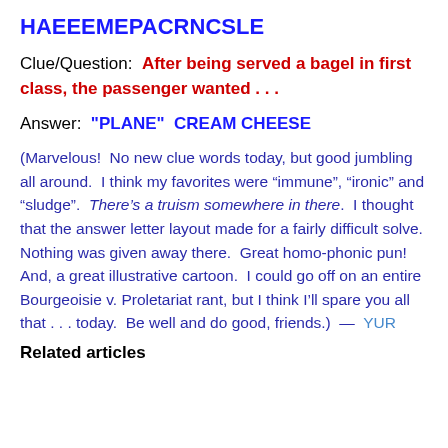HAEEEMEPACRNCSLE
Clue/Question:  After being served a bagel in first class, the passenger wanted . . .
Answer:  "PLANE"  CREAM CHEESE
(Marvelous!  No new clue words today, but good jumbling all around.  I think my favorites were “immune”, “ironic” and “sludge”.  There’s a truism somewhere in there.  I thought that the answer letter layout made for a fairly difficult solve.  Nothing was given away there.  Great homo-phonic pun!  And, a great illustrative cartoon.  I could go off on an entire Bourgeoisie v. Proletariat rant, but I think I’ll spare you all that . . . today.  Be well and do good, friends.)  —  YUR
Related articles